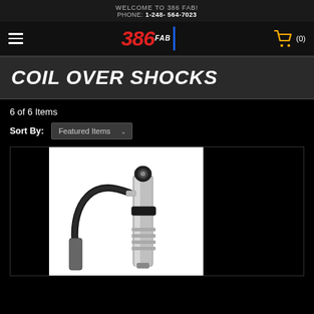WELCOME TO 386 FAB!
PHONE: 1-248- 564-7023
[Figure (logo): 386 FAB logo with red bold italic '386', white 'FAB' text and blue vertical bar, with hamburger menu icon and yellow shopping cart icon showing (0)]
COIL OVER SHOCKS
6 of 6 Items
Sort By: Featured Items
[Figure (photo): Photo of a coil over shock absorber with remote reservoir, showing silver shock body and black reservoir with hose, on white background]